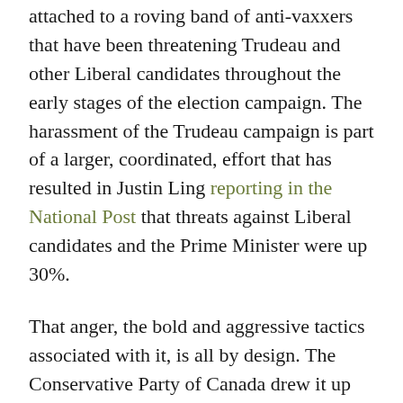attached to a roving band of anti-vaxxers that have been threatening Trudeau and other Liberal candidates throughout the early stages of the election campaign. The harassment of the Trudeau campaign is part of a larger, coordinated, effort that has resulted in Justin Ling reporting in the National Post that threats against Liberal candidates and the Prime Minister were up 30%.
That anger, the bold and aggressive tactics associated with it, is all by design. The Conservative Party of Canada drew it up that way. I have no doubt the Liberal and NDP platforms have flaws and that their ability to execute the best parts of their intentions is worthy of skepticism, however neither poses a significant threat to the best parts of Canada, neither seeks to inflame the worst inclinations of our friends and family. Thing is, there are ample media outlets and writers who make a living aggressively criticizing the Liberals (and to a much lesser extent